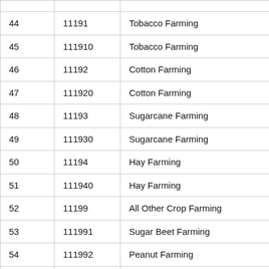|  |  |  |
| --- | --- | --- |
| 44 | 11191 | Tobacco Farming |
| 45 | 111910 | Tobacco Farming |
| 46 | 11192 | Cotton Farming |
| 47 | 111920 | Cotton Farming |
| 48 | 11193 | Sugarcane Farming |
| 49 | 111930 | Sugarcane Farming |
| 50 | 11194 | Hay Farming |
| 51 | 111940 | Hay Farming |
| 52 | 11199 | All Other Crop Farming |
| 53 | 111991 | Sugar Beet Farming |
| 54 | 111992 | Peanut Farming |
| 55 | 111998 | All Other Miscellaneous Crop Farming |